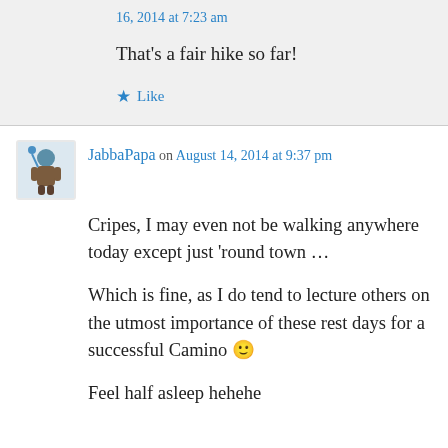16, 2014 at 7:23 am
That’s a fair hike so far!
★ Like
JabbaPapa on August 14, 2014 at 9:37 pm
Cripes, I may even not be walking anywhere today except just ‘round town …
Which is fine, as I do tend to lecture others on the utmost importance of these rest days for a successful Camino 🙂
Feel half asleep hehehe